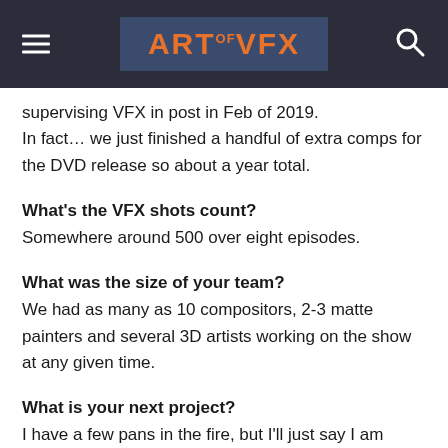ART of VFX
supervising VFX in post in Feb of 2019.
In fact… we just finished a handful of extra comps for the DVD release so about a year total.
What's the VFX shots count?
Somewhere around 500 over eight episodes.
What was the size of your team?
We had as many as 10 compositors, 2-3 matte painters and several 3D artists working on the show at any given time.
What is your next project?
I have a few pans in the fire, but I'll just say I am excited to be currently working on another great HBO project and hope to grow my relationship with HBO and other members of the